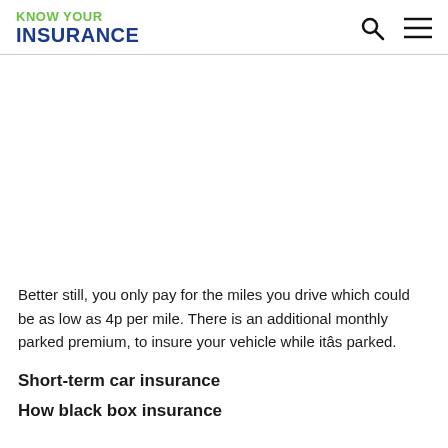KNOW YOUR INSURANCE
Better still, you only pay for the miles you drive which could be as low as 4p per mile. There is an additional monthly parked premium, to insure your vehicle while itâs parked.
Short-term car insurance
How black box insurance